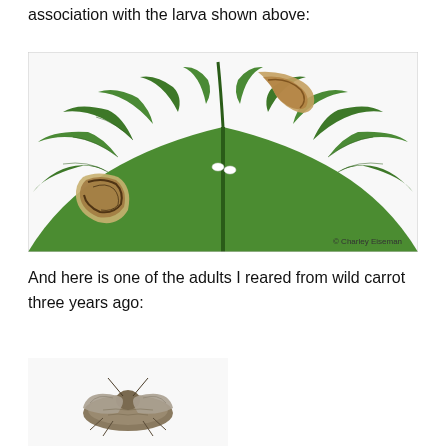association with the larva shown above:
[Figure (photo): Close-up photograph of a green fern leaf showing leaf mines (brown trails and blotches) and two white egg-like objects near the midrib. Photo credit: © Charley Eiseman]
And here is one of the adults I reared from wild carrot three years ago:
[Figure (photo): Partial photograph of a small adult insect (moth or fly) reared from wild carrot, shown from above on a light background.]